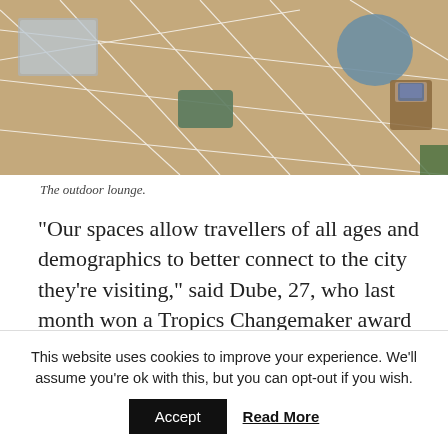[Figure (photo): Aerial view of an outdoor lounge area with sand/gravel ground, a round blue table, green ottoman/box, folding chairs with patterned cushion, and white rope lines creating geometric patterns across the ground.]
The outdoor lounge.
“Our spaces allow travellers of all ages and demographics to better connect to the city they’re visiting,” said Dube, 27, who last month won a Tropics Changemaker award as a tourism entrepreneur. In 2016, he opened a second Curiocity, in Durban.
This website uses cookies to improve your experience. We'll assume you're ok with this, but you can opt-out if you wish.